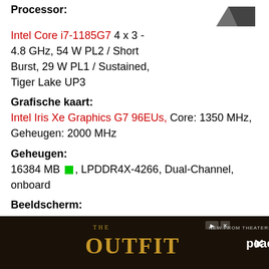Processor:
Intel Core i7-1185G7 4 x 3 - 4.8 GHz, 54 W PL2 / Short Burst, 29 W PL1 / Sustained, Tiger Lake UP3
Grafische kaart:
Intel Iris Xe Graphics G7 96EUs, Core: 1350 MHz, Geheugen: 2000 MHz
Geheugen:
16384 MB [green square], LPDDR4X-4266, Dual-Channel, onboard
Beeldscherm:
13.00 inch 3:2, 2880 x 1920 pixel 266 PPI, Capacitive, ingebouwde pen ondersteuning, LP129WT212166, IPS, glimmend: ja, afneembaar scherm, HDR, 120 Hz
[Figure (screenshot): Advertisement banner for 'The Outfit' streaming on Peacock - dark background with gold text]